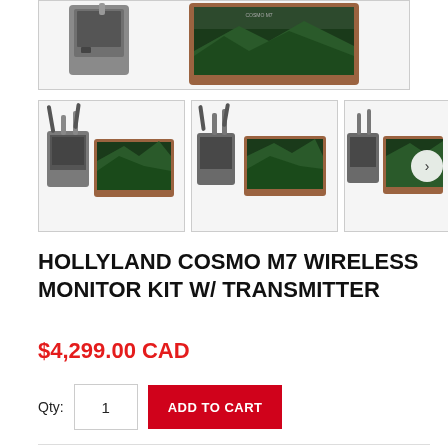[Figure (photo): Top portion of product hero image showing Hollyland Cosmo M7 wireless monitor kit devices against white background]
[Figure (photo): Thumbnail 1: Hollyland Cosmo M7 wireless monitor kit with transmitter and monitor showing forest/mountain scene]
[Figure (photo): Thumbnail 2: Hollyland Cosmo M7 wireless monitor kit side view]
[Figure (photo): Thumbnail 3: Hollyland Cosmo M7 wireless monitor kit with right-arrow navigation button]
HOLLYLAND COSMO M7 WIRELESS MONITOR KIT W/ TRANSMITTER
$4,299.00 CAD
Qty: 1  ADD TO CART
Type: Monitors
Vendor: Hollyland